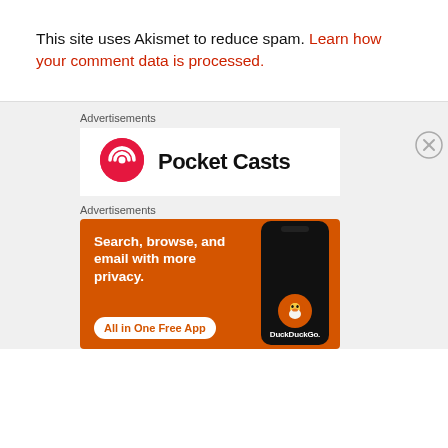This site uses Akismet to reduce spam. Learn how your comment data is processed.
Advertisements
[Figure (logo): Pocket Casts logo and brand name advertisement]
Advertisements
[Figure (illustration): DuckDuckGo advertisement: Search, browse, and email with more privacy. All in One Free App. Shows a smartphone with DuckDuckGo branding on an orange background.]